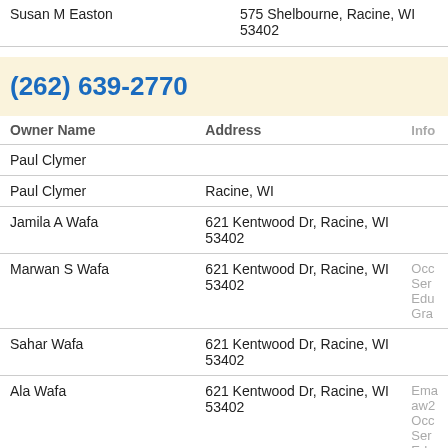| Owner Name | Address | Info |
| --- | --- | --- |
| Susan M Easton | 575 Shelbourne, Racine, WI 53402 |  |
| (262) 639-2770 |  |  |
| Paul Clymer |  |  |
| Paul Clymer | Racine, WI |  |
| Jamila A Wafa | 621 Kentwood Dr, Racine, WI 53402 |  |
| Marwan S Wafa | 621 Kentwood Dr, Racine, WI 53402 | Occ Ser
Edu Gra |
| Sahar Wafa | 621 Kentwood Dr, Racine, WI 53402 |  |
| Ala Wafa | 621 Kentwood Dr, Racine, WI 53402 | Ema aw2
Occ Ser
Edu |